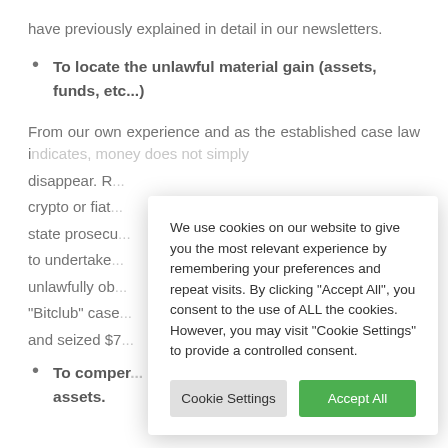have previously explained in detail in our newsletters.
To locate the unlawful material gain (assets, funds, etc...)
From our own experience and as the established case law indicates, money does not simply disappear. R... crypto or fiat... state prosecu... to undertake... unlawfully ob... "Bitclub" case... and seized $7...
To compensate... assets.
...
[Figure (screenshot): Cookie consent dialog overlay reading: 'We use cookies on our website to give you the most relevant experience by remembering your preferences and repeat visits. By clicking "Accept All", you consent to the use of ALL the cookies. However, you may visit "Cookie Settings" to provide a controlled consent.' With two buttons: 'Cookie Settings' (gray) and 'Accept All' (green).]